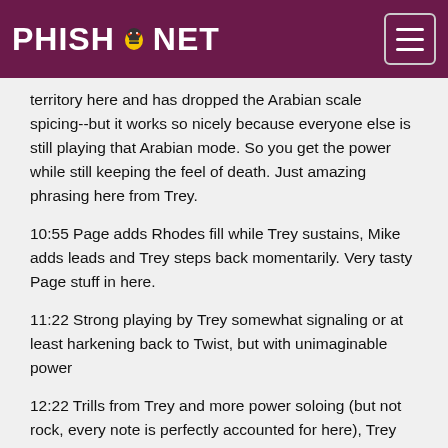PHISH.NET
territory here and has dropped the Arabian scale spicing--but it works so nicely because everyone else is still playing that Arabian mode. So you get the power while still keeping the feel of death. Just amazing phrasing here from Trey.
10:55 Page adds Rhodes fill while Trey sustains, Mike adds leads and Trey steps back momentarily. Very tasty Page stuff in here.
11:22 Strong playing by Trey somewhat signaling or at least harkening back to Twist, but with unimaginable power
12:22 Trills from Trey and more power soloing (but not rock, every note is perfectly accounted for here), Trey just going off in such a perfect counterpoint, finally leading the band at just the right moment to lead the band.